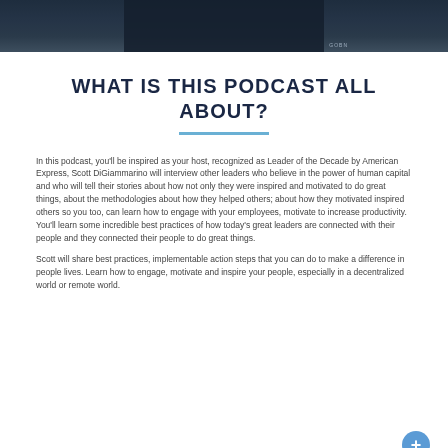[Figure (photo): Dark background photo strip showing a person in a dark jacket with arms crossed, partial view at top of page]
WHAT IS THIS PODCAST ALL ABOUT?
In this podcast, you'll be inspired as your host, recognized as Leader of the Decade by American Express, Scott DiGiammarino will interview other leaders who believe in the power of human capital and who will tell their stories about how not only they were inspired and motivated to do great things, about the methodologies about how they helped others; about how they motivated inspired others so you too, can learn how to engage with your employees, motivate to increase productivity. You'll learn some incredible best practices of how today's great leaders are connected with their people and they connected their people to do great things.
Scott will share best practices, implementable action steps that you can do to make a difference in people lives. Learn how to engage, motivate and inspire your people, especially in a decentralized world or remote world.